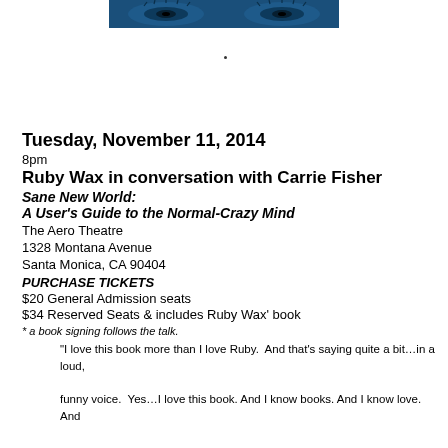[Figure (photo): Blue-toned photo strip showing two women's faces/eyes close up, centered at top of page]
Tuesday, November 11, 2014
8pm
Ruby Wax in conversation with Carrie Fisher
Sane New World:
A User's Guide to the Normal-Crazy Mind
The Aero Theatre
1328 Montana Avenue
Santa Monica, CA 90404
PURCHASE TICKETS
$20 General Admission seats
$34 Reserved Seats & includes Ruby Wax' book
* a book signing follows the talk.
"I love this book more than I love Ruby.  And that's saying quite a bit…in a loud, funny voice.  Yes…I love this book. And I know books. And I know love. And